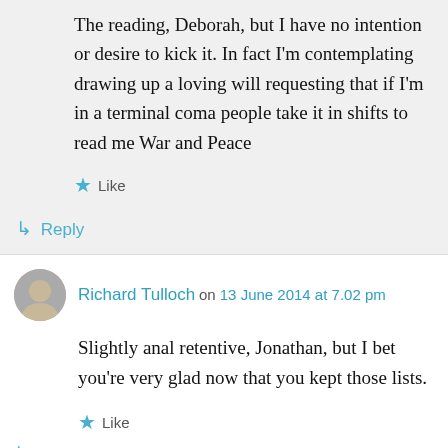The reading, Deborah, but I have no intention or desire to kick it. In fact I'm contemplating drawing up a loving will requesting that if I'm in a terminal coma people take it in shifts to read me War and Peace
★ Like
↳ Reply
Richard Tulloch on 13 June 2014 at 7.02 pm
Slightly anal retentive, Jonathan, but I bet you're very glad now that you kept those lists.
★ Like
↳ Reply